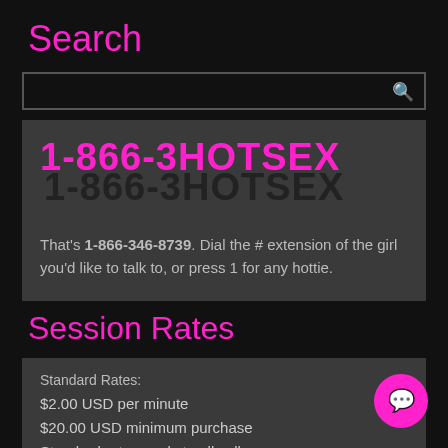Search
[Figure (other): Search input bar with magnifying glass icon]
[Figure (other): Phone number graphic: 1-866-3HOTSEX displayed in bold magenta text with dark shadow below]
That's 1-866-346-8739. Dial the # extension of the girl you'd like to talk to, or press 1 for any hottie.
Session Rates
Standard Rates:
$2.00 USD per minute
$20.00 USD minimum purchase
Standard rates apply to all calls